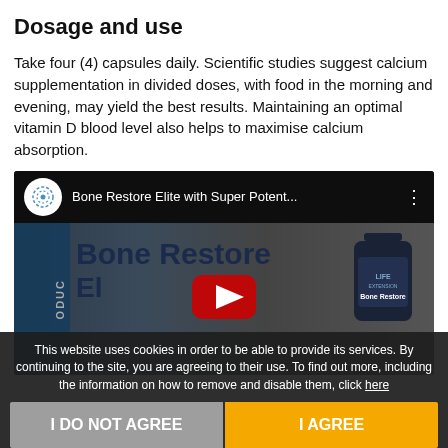Dosage and use
Take four (4) capsules daily. Scientific studies suggest calcium supplementation in divided doses, with food in the morning and evening, may yield the best results. Maintaining an optimal vitamin D blood level also helps to maximise calcium absorption.
[Figure (screenshot): YouTube video thumbnail for 'Bone Restore Elite with Super Potent...' showing the product name and a supplement bottle with Life Extension branding, with a red play button overlay.]
This website uses cookies in order to be able to provide its services. By continuing to the site, you are agreeing to their use. To find out more, including the information on how to remove and disable them, click here
I DO NOT AGREE
I AGREE